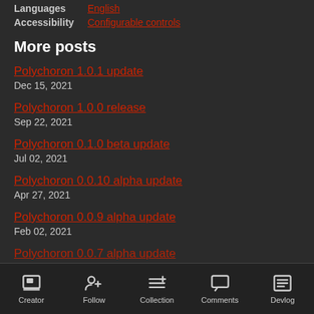Languages   English
Accessibility   Configurable controls
More posts
Polychoron 1.0.1 update
Dec 15, 2021
Polychoron 1.0.0 release
Sep 22, 2021
Polychoron 0.1.0 beta update
Jul 02, 2021
Polychoron 0.0.10 alpha update
Apr 27, 2021
Polychoron 0.0.9 alpha update
Feb 02, 2021
Polychoron 0.0.7 alpha update
Creator   Follow   Collection   Comments   Devlog